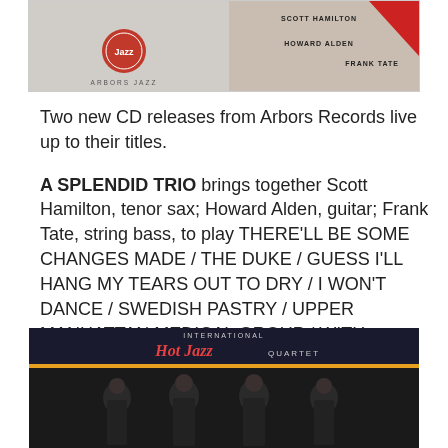[Figure (photo): Album cover for 'A Splendid Trio' on Arbors Records featuring Scott Hamilton, Howard Alden, and Frank Tate]
Two new CD releases from Arbors Records live up to their titles.
A SPLENDID TRIO brings together Scott Hamilton, tenor sax; Howard Alden, guitar; Frank Tate, string bass, to play THERE'LL BE SOME CHANGES MADE / THE DUKE / GUESS I'LL HANG MY TEARS OUT TO DRY / I WON'T DANCE / SWEDISH PASTRY / UPPER MANHATTAN MEDICAL GROUP / WITH SOMEONE NEW / RUSSIAN LULLABY / CHANGES / JUST ONE MORE CHANCE / INDIAN SUMMER.
[Figure (photo): Album cover for 'International Hot Jazz Quartet' showing four men in suits]